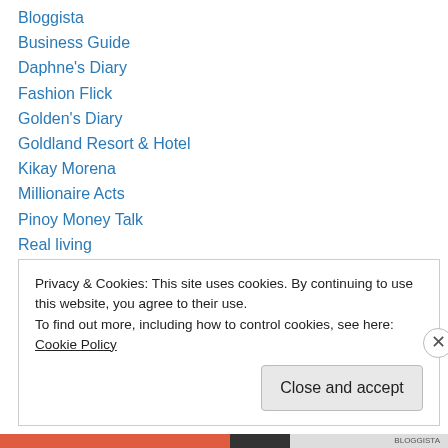Bloggista
Business Guide
Daphne's Diary
Fashion Flick
Golden's Diary
Goldland Resort & Hotel
Kikay Morena
Millionaire Acts
Pinoy Money Talk
Real living
ShopCrazy
Style & Relax
The Candishhh Tales
Privacy & Cookies: This site uses cookies. By continuing to use this website, you agree to their use. To find out more, including how to control cookies, see here: Cookie Policy
Close and accept